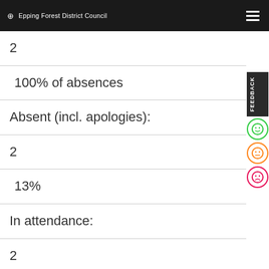Epping Forest District Council
2
100% of absences
Absent (incl. apologies):
2
13%
In attendance:
2
Explanation of the statistics counts
Total expected attendances